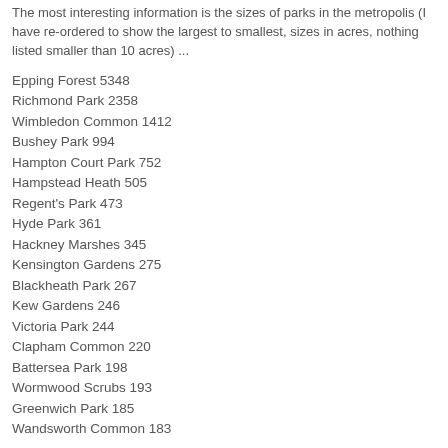The most interesting information is the sizes of parks in the metropolis (I have re-ordered to show the largest to smallest, sizes in acres, nothing listed smaller than 10 acres) ...
Epping Forest 5348
Richmond Park 2358
Wimbledon Common 1412
Bushey Park 994
Hampton Court Park 752
Hampstead Heath 505
Regent's Park 473
Hyde Park 361
Hackney Marshes 345
Kensington Gardens 275
Blackheath Park 267
Kew Gardens 246
Victoria Park 244
Clapham Common 220
Battersea Park 198
Wormwood Scrubs 193
Greenwich Park 185
Wandsworth Common 183